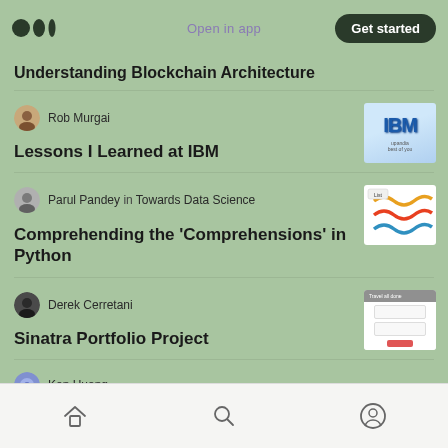Open in app | Get started
Understanding Blockchain Architecture
Rob Murgai
Lessons I Learned at IBM
Parul Pandey in Towards Data Science
Comprehending the ‘Comprehensions’ in Python
Derek Cerretani
Sinatra Portfolio Project
Ken Huang
Home | Search | Profile